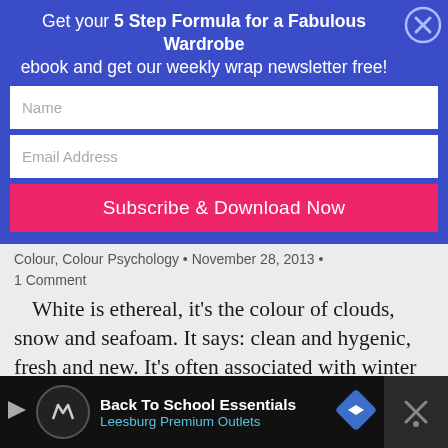Get your 5 Step Formula for a Fabulous Wardrobe ebook and get our weekly wrap newsletter free!
[Figure (screenshot): Email subscription form with Name field, Email Address field, and Subscribe & Download Now button on blue background with close X button]
Colour, Colour Psychology • November 28, 2013 •
1 Comment
White is ethereal, it's the colour of clouds, snow and seafoam. It says: clean and hygenic, fresh and new. It's often associated with winter in cooler climates, because of the snow. A fresh new piece of paper – a blank page, ready to be written on. In the Western world it's the colour
[Figure (infographic): Advertisement bar: Back To School Essentials - Leesburg Premium Outlets with logo, arrow icons, and close button]